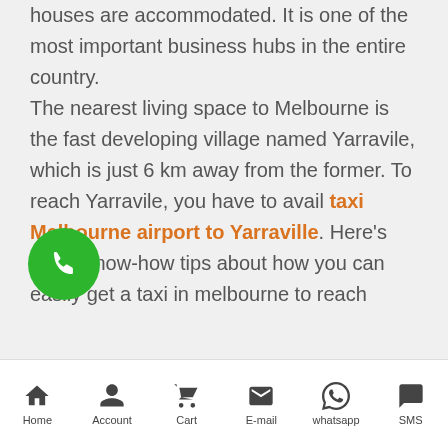the city, where the major corporate houses are accommodated. It is one of the most important business hubs in the entire country.

The nearest living space to Melbourne is the fast developing village named Yarravile, which is just 6 km away from the former. To reach Yarravile, you have to avail taxi Melbourne airport to Yarraville. Here's some know-how tips about how you can easily get a taxi in melbourne to reach
[Figure (other): Green circular phone/call button icon]
Home | Account | Cart | E-mail | whatsapp | SMS